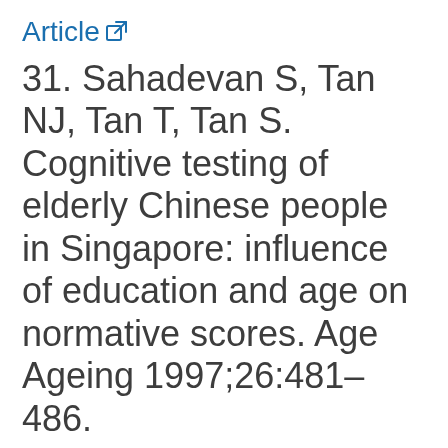Article
31. Sahadevan S, Tan NJ, Tan T, Tan S. Cognitive testing of elderly Chinese people in Singapore: influence of education and age on normative scores. Age Ageing 1997;26:481–486.
Article
32. Yang L, Unverzagt FW, Jin Y, Hendrie HC, Liang C, Hall KS, et al. Normative and